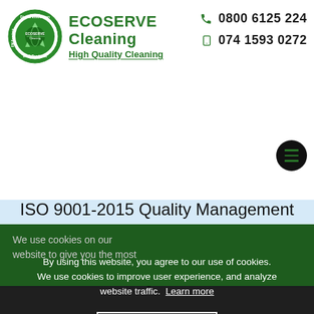[Figure (logo): EcoServe Cleaning circular green logo with globe and recycling arrows, text 'Digital Innovation', 'ECO Products', 'FM Services']
ECOSERVE Cleaning
High Quality Cleaning
0800 6125 224
074 1593 0272
ISO 9001-2015 Quality Management Systems, CHAS and Safe Contractor both designed to
We use cookies on our website to give you the most
By using this website, you agree to our use of cookies. We use cookies to improve user experience, and analyze website traffic. Learn more
Accept